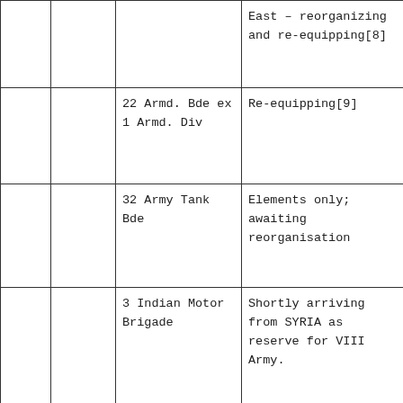|  |  |  | East – reorganizing and re-equipping[8] |
|  |  | 22 Armd. Bde ex 1 Armd. Div | Re-equipping[9] |
|  |  | 32 Army Tank Bde | Elements only; awaiting reorganisation |
|  |  | 3 Indian Motor Brigade | Shortly arriving from SYRIA as reserve for VIII Army. |
|  |  | Two British infantry battalions | Including one M.G. Battalion |